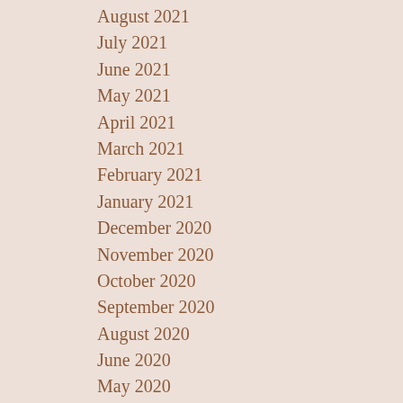August 2021
July 2021
June 2021
May 2021
April 2021
March 2021
February 2021
January 2021
December 2020
November 2020
October 2020
September 2020
August 2020
June 2020
May 2020
April 2020
March 2020
February 2020
January 2020
December 2019